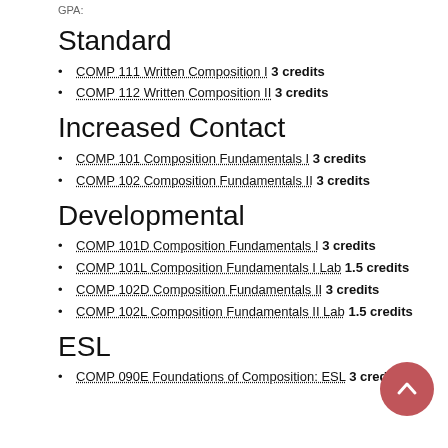GPA:
Standard
COMP 111 Written Composition I 3 credits
COMP 112 Written Composition II 3 credits
Increased Contact
COMP 101 Composition Fundamentals I 3 credits
COMP 102 Composition Fundamentals II 3 credits
Developmental
COMP 101D Composition Fundamentals I 3 credits
COMP 101L Composition Fundamentals I Lab 1.5 credits
COMP 102D Composition Fundamentals II 3 credits
COMP 102L Composition Fundamentals II Lab 1.5 credits
ESL
COMP 090E Foundations of Composition: ESL 3 credits